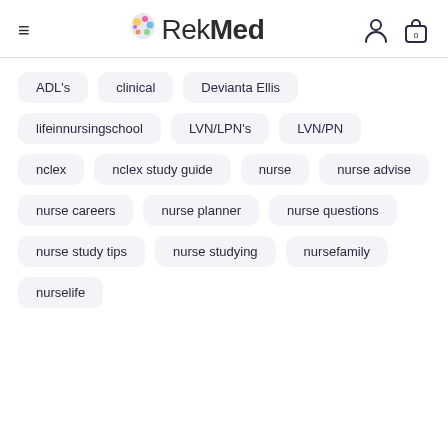RekMed
ADL's
clinical
Devianta Ellis
lifeinnursingschool
LVN/LPN's
LVN/PN
nclex
nclex study guide
nurse
nurse advise
nurse careers
nurse planner
nurse questions
nurse study tips
nurse studying
nursefamily
nurselife